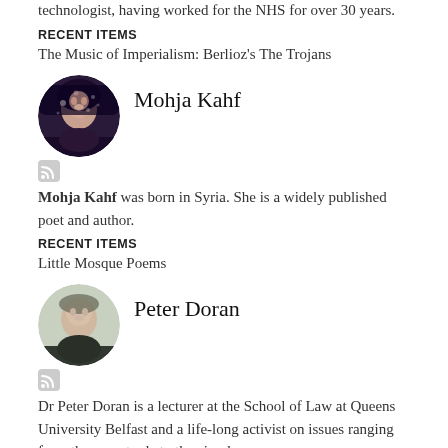technologist, having worked for the NHS for over 30 years.
RECENT ITEMS
The Music of Imperialism: Berlioz's The Trojans
[Figure (photo): Circular portrait photo of Mohja Kahf with RSS icon below]
Mohja Kahf
Mohja Kahf was born in Syria. She is a widely published poet and author.
RECENT ITEMS
Little Mosque Poems
[Figure (photo): Circular portrait photo of Peter Doran with RSS icon below]
Peter Doran
Dr Peter Doran is a lecturer at the School of Law at Queens University Belfast and a life-long activist on issues ranging from the arms trade to the circular economy.